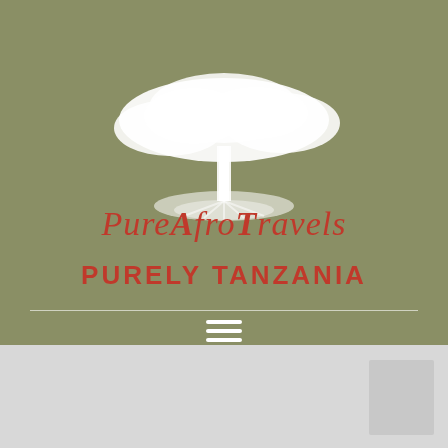[Figure (logo): PureAfroTravels logo with a white illustrated acacia tree above the brand name in red italic script reading 'PureAfroTravels']
PURELY TANZANIA